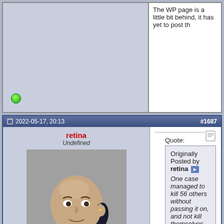The WP page is a little bit behind, it has yet to post th
2022-05-17, 20:13  #1687
retina
Undefined
"The unspeakable one"
Jun 2006
My evil lair
14654₈ Posts
[Figure (photo): Avatar image of a bald man in a suit (Dr. Evil parody), holding finger near mouth]
Originally Posted by retina
One case managed to kill 56 others without passing it on, and not kill themselves. Amazing.
Oh. A deep flaw in my logic there.

I suppose the single case could have also died, So 55 killed + the originator.

So now I understand it. NK is doing contact tracing, and eliminating all the contacts.
2022-05-18, 11:25  #1688